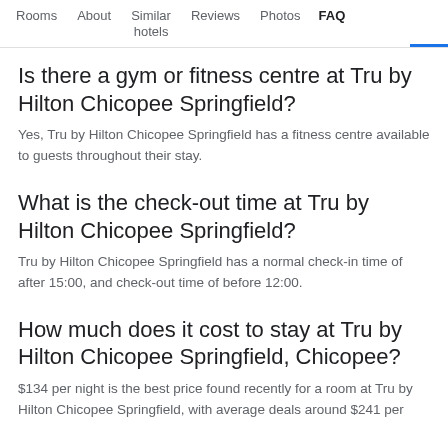Rooms | About | Similar hotels | Reviews | Photos | FAQ
Is there a gym or fitness centre at Tru by Hilton Chicopee Springfield?
Yes, Tru by Hilton Chicopee Springfield has a fitness centre available to guests throughout their stay.
What is the check-out time at Tru by Hilton Chicopee Springfield?
Tru by Hilton Chicopee Springfield has a normal check-in time of after 15:00, and check-out time of before 12:00.
How much does it cost to stay at Tru by Hilton Chicopee Springfield, Chicopee?
$134 per night is the best price found recently for a room at Tru by Hilton Chicopee Springfield, with average deals around $241 per